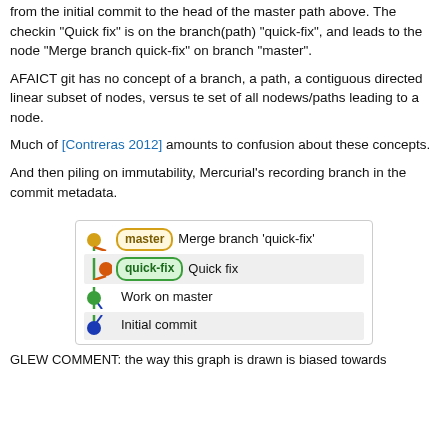from the initial commit to the head of the master path above. The checkin "Quick fix" is on the branch(path) "quick-fix", and leads to the node "Merge branch quick-fix" on branch "master".
AFAICT git has no concept of a branch, a path, a contiguous directed linear subset of nodes, versus te set of all nodews/paths leading to a node.
Much of [Contreras 2012] amounts to confusion about these concepts.
And then piling on immutability, Mercurial's recording branch in the commit metadata.
[Figure (flowchart): Git commit graph showing four nodes: 'Merge branch quick-fix' (master), 'Quick fix' (quick-fix branch), 'Work on master', and 'Initial commit', connected by colored lines]
GLEW COMMENT: the way this graph is drawn is biased towards...